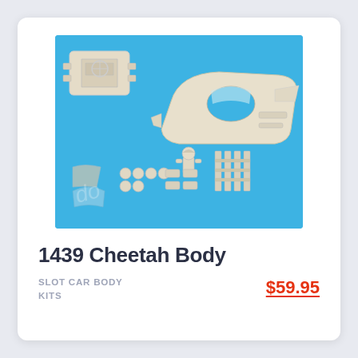[Figure (photo): Photo of a slot car body kit — the 1439 Cheetah Body — showing cream/white resin model car parts laid out on a bright blue background. Parts include a main car body shell, interior tub, driver figure, wheels, and various small components.]
1439 Cheetah Body
SLOT CAR BODY KITS
$59.95